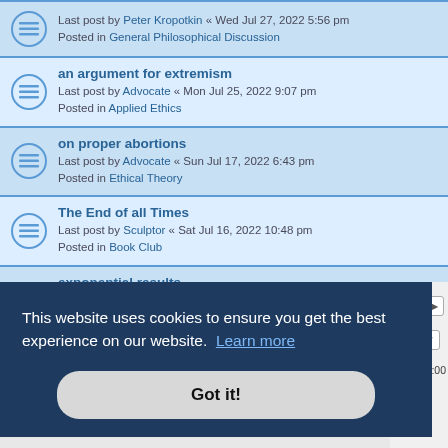Last post by Peter Kropotkin « Wed Jul 27, 2022 5:56 pm
Posted in General Philosophical Discussion
an argument for extremism
Last post by Advocate « Mon Jul 25, 2022 9:07 pm
Posted in Applied Ethics
on proper abortions
Last post by Advocate « Sun Jul 17, 2022 6:43 pm
Posted in Ethical Theory
The End of all Times
Last post by Sculptor « Sat Jul 16, 2022 10:48 pm
Posted in Book Club
exponential results
Last post by Advocate « Sat Jul 16, 2022 3:09 pm
Posted in Political Philosophy
This website uses cookies to ensure you get the best experience on our website. Learn more
Got it!